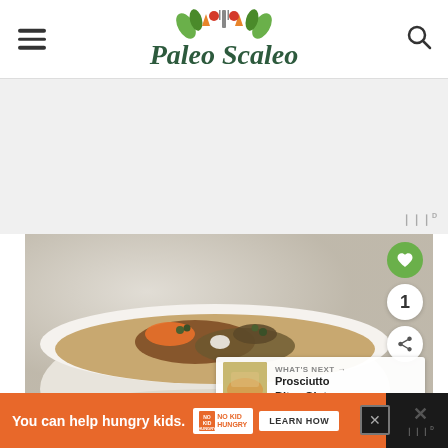Paleo Scaleo
[Figure (photo): Advertisement placeholder area, light gray background]
[Figure (photo): A white bowl containing various spices and powders including cinnamon, cumin, and other brown spices on a light gray surface]
WHAT'S NEXT → Prosciutto Bites Gluten...
[Figure (infographic): Orange advertisement banner: You can help hungry kids. No Kid Hungry. LEARN HOW]